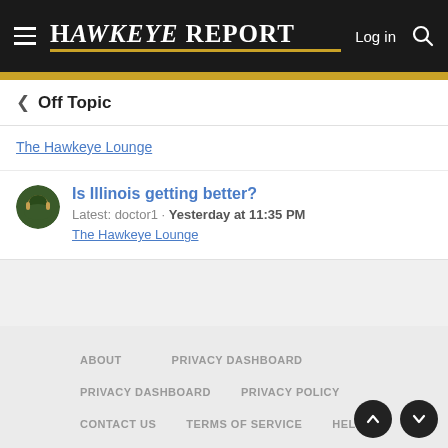Hawkeye Report — Log in
< Off Topic
The Hawkeye Lounge
Is Illinois getting better?
Latest: doctor1 · Yesterday at 11:35 PM
The Hawkeye Lounge
ABOUT   PRIVACY DASHBOARD   PRIVACY DASHBOARD   PRIVACY POLICY   CONTACT US   TERMS OF SERVICE   HELP